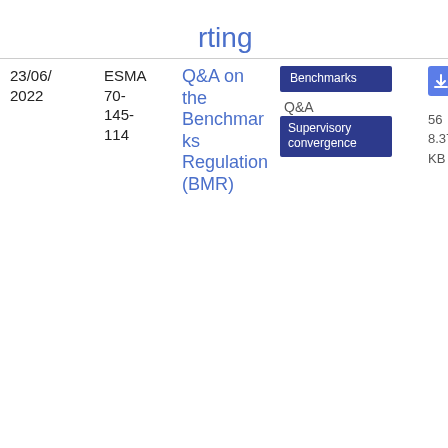rting
| Date | Reference | Title | Tags | Type | Format |
| --- | --- | --- | --- | --- | --- |
| 23/06/
2022 | ESMA
70-
145-
114 | Q&A on the Benchmarks Regulation (BMR) | Benchmarks, Supervisory convergence | Q&A | PDF 568.37 KB |
| 25/05/
2022 | Joint Committee SFDR Q&As | Questions related to Regu... | Joint Committee, Sustainable finance | Q&A | PDF 794.9 KB |